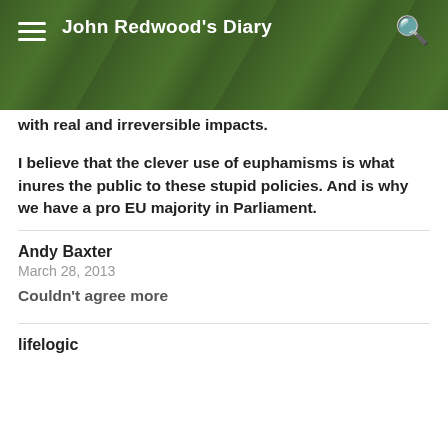John Redwood's Diary
with real and irreversible impacts.
I believe that the clever use of euphamisms is what inures the public to these stupid policies. And is why we have a pro EU majority in Parliament.
Andy Baxter
March 28, 2013
Couldn't agree more
lifelogic